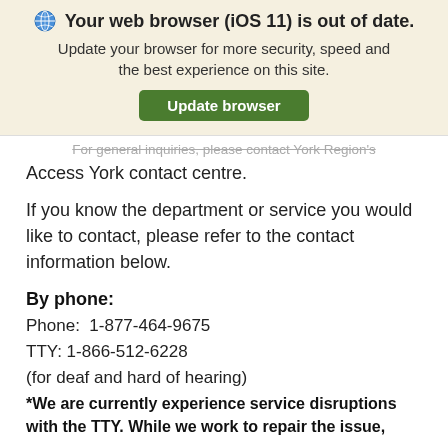[Figure (screenshot): Browser update banner with globe icon and green Update browser button on a cream background]
For general inquiries, please contact York Region's Access York contact centre.
If you know the department or service you would like to contact, please refer to the contact information below.
By phone:
Phone:  1-877-464-9675
TTY: 1-866-512-6228
(for deaf and hard of hearing)
*We are currently experience service disruptions with the TTY. While we work to repair the issue,